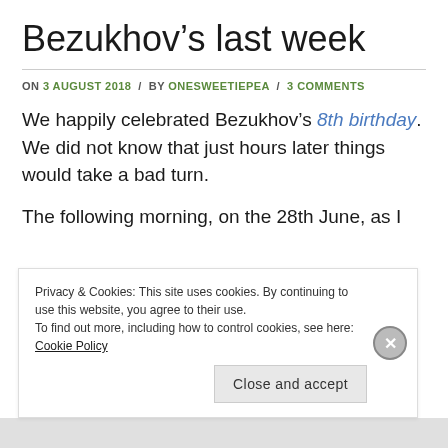Bezukhov's last week
ON 3 AUGUST 2018 / BY ONESWEETIEPEA / 3 COMMENTS
We happily celebrated Bezukhov's 8th birthday. We did not know that just hours later things would take a bad turn.
The following morning, on the 28th June, as I
Privacy & Cookies: This site uses cookies. By continuing to use this website, you agree to their use.
To find out more, including how to control cookies, see here: Cookie Policy
Close and accept